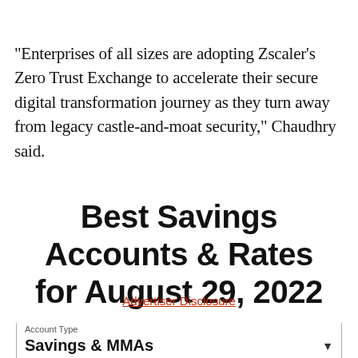"Enterprises of all sizes are adopting Zscaler's Zero Trust Exchange to accelerate their secure digital transformation journey as they turn away from legacy castle-and-moat security," Chaudhry said.
Best Savings Accounts & Rates for August 29, 2022
Advertiser Disclosure
| Account Type |
| --- |
| Savings & MMAs |